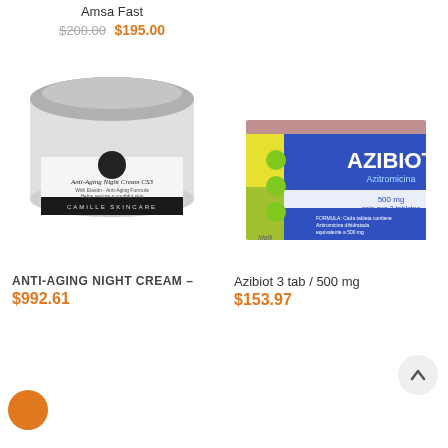Amsa Fast
$208.00 $195.00
[Figure (photo): Jar of Anti-Aging Night Cream CS3 by Camille Skincare]
ANTI-AGING NIGHT CREAM –
$992.61
[Figure (photo): Box of Azibiot (Azithromycin) 3 tablets / 500 mg]
Azibiot 3 tab / 500 mg
$153.97